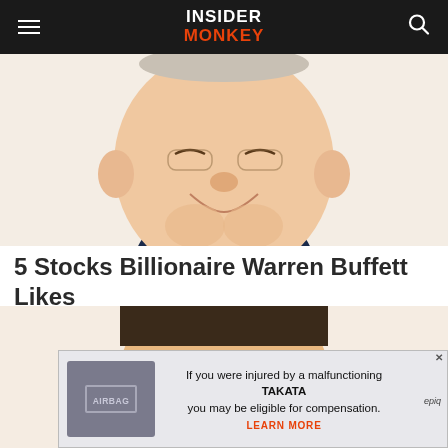INSIDER MONKEY
[Figure (illustration): Caricature illustration of Warren Buffett (top portion, cropped) on white/light background]
5 Stocks Billionaire Warren Buffett Likes
[Figure (illustration): Caricature illustration of another billionaire investor (cropped, showing face and shoulders) on light background]
[Figure (other): Advertisement banner: image of airbag on left, text 'If you were injured by a malfunctioning TAKATA you may be eligible for compensation. LEARN MORE' with Epiq logo on right]